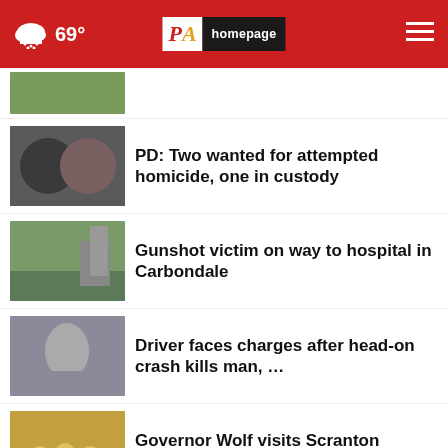PA Homepage | 69°
[Figure (photo): Partially visible thumbnail at top]
PD: Two wanted for attempted homicide, one in custody
Gunshot victim on way to hospital in Carbondale
Driver faces charges after head-on crash kills man, …
Governor Wolf visits Scranton students in 'STEMM' …
Scott Disick, Kourtney Kardashian's ex, injured in …